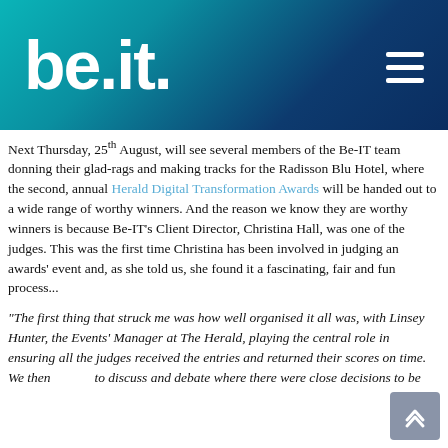[Figure (logo): be.it. logo in white text on teal-to-navy gradient header with hamburger menu icon]
Next Thursday, 25th August, will see several members of the Be-IT team donning their glad-rags and making tracks for the Radisson Blu Hotel, where the second, annual Herald Digital Transformation Awards will be handed out to a wide range of worthy winners. And the reason we know they are worthy winners is because Be-IT's Client Director, Christina Hall, was one of the judges. This was the first time Christina has been involved in judging an awards' event and, as she told us, she found it a fascinating, fair and fun process...
"The first thing that struck me was how well organised it all was, with Linsey Hunter, the Events' Manager at The Herald, playing the central role in ensuring all the judges received the entries and returned their scores on time.  We then [met] to discuss and debate where there were close decisions to be